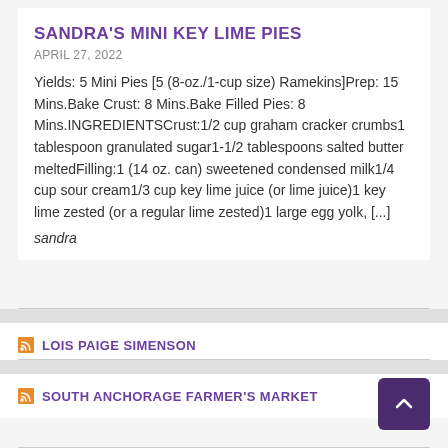SANDRA'S MINI KEY LIME PIES
APRIL 27, 2022
Yields: 5 Mini Pies [5 (8-oz./1-cup size) Ramekins]Prep: 15 Mins.Bake Crust: 8 Mins.Bake Filled Pies: 8 Mins.INGREDIENTSCrust:1/2 cup graham cracker crumbs1 tablespoon granulated sugar1-1/2 tablespoons salted butter meltedFilling:1 (14 oz. can) sweetened condensed milk1/4 cup sour cream1/3 cup key lime juice (or lime juice)1 key lime zested (or a regular lime zested)1 large egg yolk, [...]
sandra
LOIS PAIGE SIMENSON
SOUTH ANCHORAGE FARMER'S MARKET